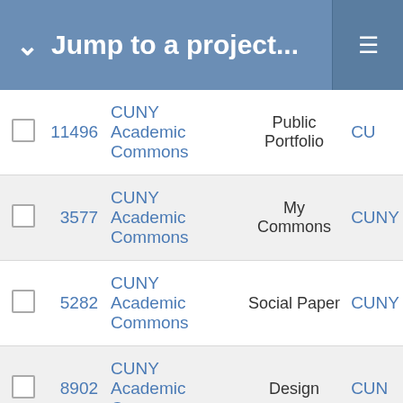Jump to a project...
|  | ID | Project | Component |  |
| --- | --- | --- | --- | --- |
|  | 11496 | CUNY Academic Commons | Public Portfolio | CU |
|  | 3577 | CUNY Academic Commons | My Commons | CUNY |
|  | 5282 | CUNY Academic Commons | Social Paper | CUNY |
|  | 8902 | CUNY Academic Commons | Design | CUN |
|  | 9979 | CUNY Academic Commons | Email Notifications | CUN |
|  | 16319 | CUNY Academic Commons | WordPress Plugins | C |
|  | 9420 | CUNY Academic Commons | cuny.is | CUN |
|  | 4070 | CUNY Academic Commons | Analytics | CUN |